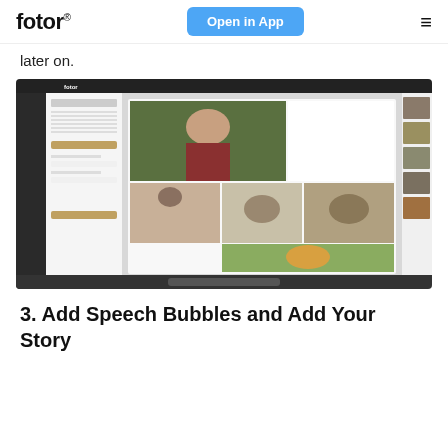fotor® | Open in App | ≡
later on.
[Figure (screenshot): Fotor photo collage editor interface showing a calendar-like panel on the left and a collage canvas with photos of a woman, cats, and a tiger in the center, with photo thumbnails on the right sidebar.]
3. Add Speech Bubbles and Add Your Story